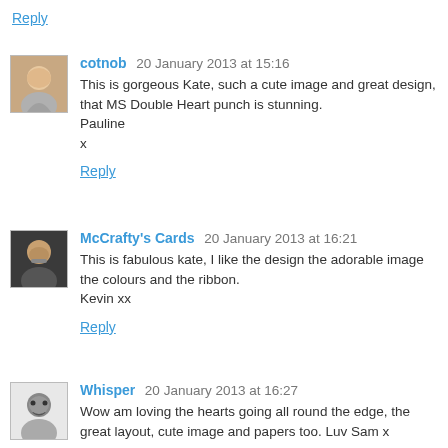Reply
cotnob 20 January 2013 at 15:16
This is gorgeous Kate, such a cute image and great design, that MS Double Heart punch is stunning.
Pauline
x
Reply
McCrafty's Cards 20 January 2013 at 16:21
This is fabulous kate, I like the design the adorable image the colours and the ribbon.
Kevin xx
Reply
Whisper 20 January 2013 at 16:27
Wow am loving the hearts going all round the edge, the great layout, cute image and papers too. Luv Sam x